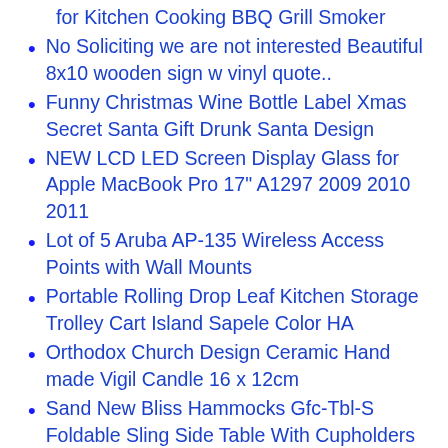for Kitchen Cooking BBQ Grill Smoker
No Soliciting we are not interested Beautiful 8x10 wooden sign w vinyl quote..
Funny Christmas Wine Bottle Label Xmas Secret Santa Gift Drunk Santa Design
NEW LCD LED Screen Display Glass for Apple MacBook Pro 17" A1297 2009 2010 2011
Lot of 5 Aruba AP-135 Wireless Access Points with Wall Mounts
Portable Rolling Drop Leaf Kitchen Storage Trolley Cart Island Sapele Color HA
Orthodox Church Design Ceramic Hand made Vigil Candle 16 x 12cm
Sand New Bliss Hammocks Gfc-Tbl-S Foldable Sling Side Table With Cupholders
Cartoon Microfiber Hair Turban Quickly Dry Hair Hat Wrapped Towel Bathing Cap CH